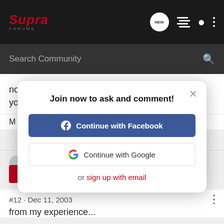[Figure (screenshot): Supra Forums navigation bar with logo, NEW bubble icon, list icon, user icon, and dots menu]
[Figure (screenshot): Search Community search bar on dark background]
no, my MBCs do not have any of the listed mods. you can do those if you can't get enough boost.
[Figure (screenshot): Join now modal dialog with Continue with Facebook button, Continue with Google button, and sign up with email link]
#12 · Dec 11, 2003
from my experience...